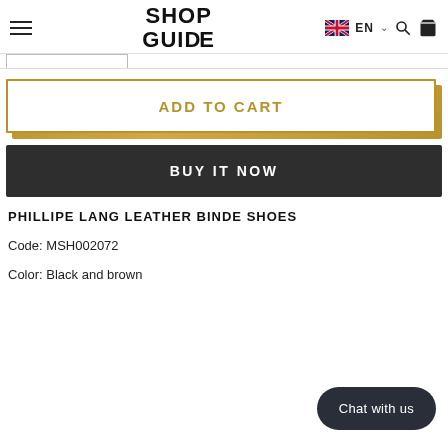SHOP GUIDE — EN — navigation header
ADD TO CART
BUY IT NOW
PHILLIPE LANG LEATHER BINDE SHOES
Code: MSH002072
Color: Black and brown
Chat with us